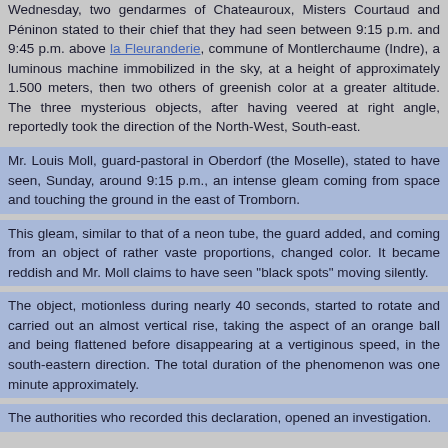Wednesday, two gendarmes of Chateauroux, Misters Courtaud and Péninon stated to their chief that they had seen between 9:15 p.m. and 9:45 p.m. above la Fleuranderie, commune of Montlerchaume (Indre), a luminous machine immobilized in the sky, at a height of approximately 1.500 meters, then two others of greenish color at a greater altitude. The three mysterious objects, after having veered at right angle, reportedly took the direction of the North-West, South-east.
Mr. Louis Moll, guard-pastoral in Oberdorf (the Moselle), stated to have seen, Sunday, around 9:15 p.m., an intense gleam coming from space and touching the ground in the east of Tromborn.
This gleam, similar to that of a neon tube, the guard added, and coming from an object of rather vaste proportions, changed color. It became reddish and Mr. Moll claims to have seen "black spots" moving silently.
The object, motionless during nearly 40 seconds, started to rotate and carried out an almost vertical rise, taking the aspect of an orange ball and being flattened before disappearing at a vertiginous speed, in the south-eastern direction. The total duration of the phenomenon was one minute approximately.
The authorities who recorded this declaration, opened an investigation.
A "flying cigar" above Banyuls-sur-Mer?
PERPIGNAN. -- In the night from Wednesday to Thursday, three young boys from 16 to 17 years old, who walked on the pier of the Banyuls-sur-Mer harbor (East. Pyr.) saw in the sky a flying object going at high speed and from which red and green flames seemed to leave.